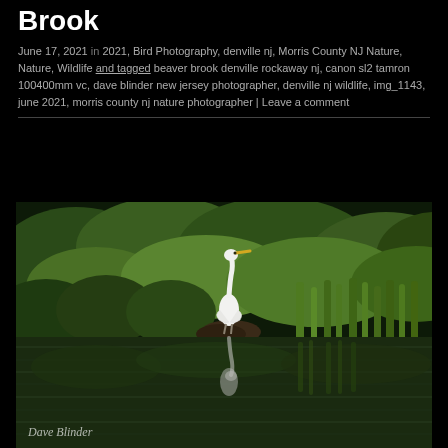Brook
June 17, 2021 in 2021, Bird Photography, denville nj, Morris County NJ Nature, Nature, Wildlife and tagged beaver brook denville rockaway nj, canon sl2 tamron 100400mm vc, dave blinder new jersey photographer, denville nj wildlife, img_1143, june 2021, morris county nj nature photographer | Leave a comment
[Figure (photo): A great egret standing on a small muddy bank in the middle of a calm river, surrounded by dense green foliage and trees. The white bird is reflected in the still water below. A photographer watermark 'Dave Blinder' appears in the bottom-left corner.]